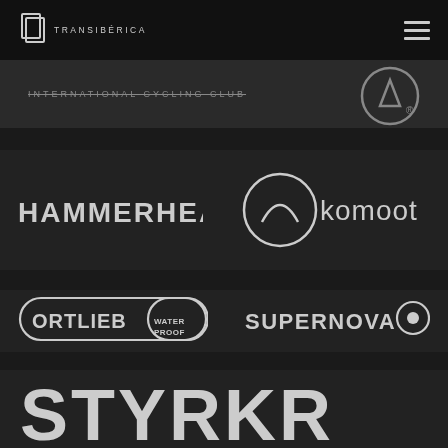[Figure (logo): Transiberica website navigation bar with Transiberica logo on the left and hamburger menu icon on the right, dark background]
[Figure (logo): Partial view of top section showing 'INTERNATIONAL CYCLING CLUB' text and a circular logo with registered trademark symbol on dark background]
[Figure (logo): HAMMERHEAD logo in white sans-serif text on dark background]
[Figure (logo): komoot logo with circular mountain/wave symbol on dark background]
[Figure (logo): ORTLIEB WATERPROOF logo in rounded rectangle border on dark background]
[Figure (logo): SUPERNOVA logo with circular icon on dark background]
[Figure (logo): STYRKR brand name in large bold white letters on dark background, partially cropped]